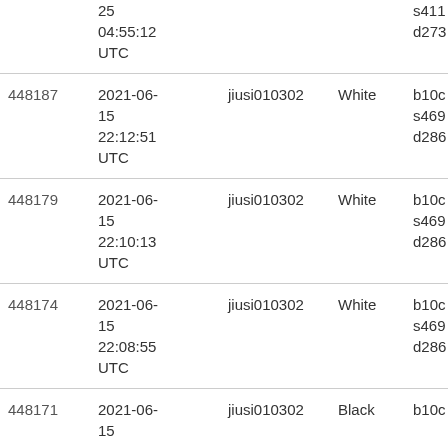| ID | Date | User | Color | Ref |
| --- | --- | --- | --- | --- |
|  | 25
04:55:12
UTC |  |  | s411
d273 |
| 448187 | 2021-06-15
22:12:51
UTC | jiusi010302 | White | b10c
s469
d286 |
| 448179 | 2021-06-15
22:10:13
UTC | jiusi010302 | White | b10c
s469
d286 |
| 448174 | 2021-06-15
22:08:55
UTC | jiusi010302 | White | b10c
s469
d286 |
| 448171 | 2021-06-15 | jiusi010302 | Black | b10c |